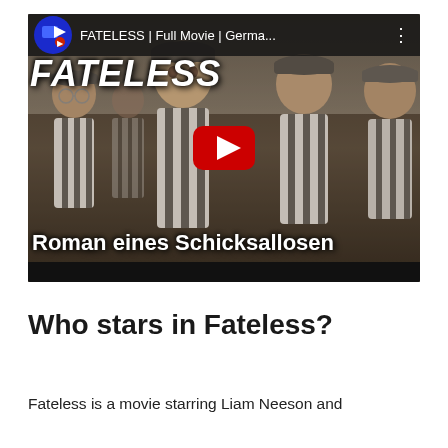[Figure (screenshot): YouTube video thumbnail for 'FATELESS | Full Movie | Germa...' showing men in concentration camp striped uniforms. The video title 'FATELESS' appears in large white italic letters at top left. The subtitle 'Roman eines Schicksallosen' appears in large bold white text at the bottom. A red YouTube play button is centered on the screen.]
Who stars in Fateless?
Fateless is a movie starring Liam Neeson and